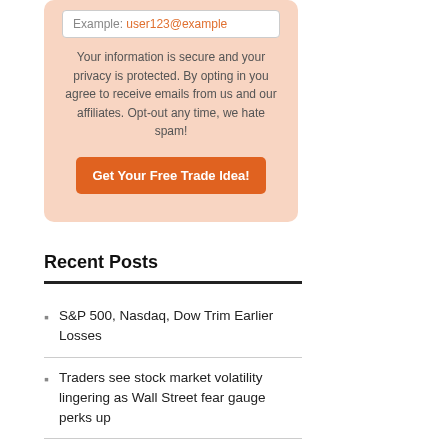Example: user123@example
Your information is secure and your privacy is protected. By opting in you agree to receive emails from us and our affiliates. Opt-out any time, we hate spam!
Get Your Free Trade Idea!
Recent Posts
S&P 500, Nasdaq, Dow Trim Earlier Losses
Traders see stock market volatility lingering as Wall Street fear gauge perks up
Cannabis, crypto and meme stocks rally Monday as stock-market selloff